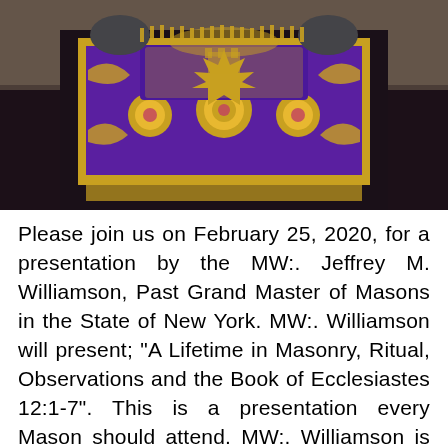[Figure (photo): A person wearing an ornate Masonic regalia apron — purple and gold with embroidered symbols including sunbursts and architectural motifs — over a black outfit. Gloved hands visible at top, standing against a stone background.]
Please join us on February 25, 2020, for a presentation by the MW:. Jeffrey M. Williamson, Past Grand Master of Masons in the State of New York. MW:. Williamson will present; "A Lifetime in Masonry, Ritual, Observations and the Book of Ecclesiastes 12:1-7". This is a presentation every Mason should attend. MW:. Williamson is an